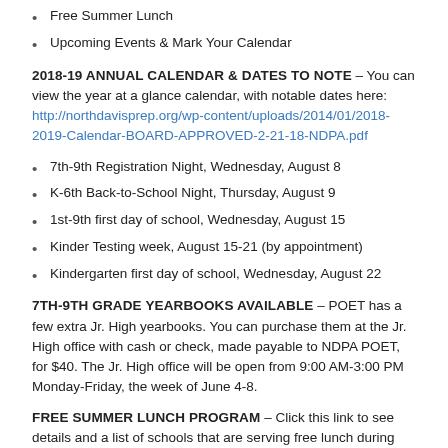Free Summer Lunch
Upcoming Events & Mark Your Calendar
2018-19 ANNUAL CALENDAR & DATES TO NOTE – You can view the year at a glance calendar, with notable dates here: http://northdavisprep.org/wp-content/uploads/2014/01/2018-2019-Calendar-BOARD-APPROVED-2-21-18-NDPA.pdf
7th-9th Registration Night, Wednesday, August 8
K-6th Back-to-School Night, Thursday, August 9
1st-9th first day of school, Wednesday, August 15
Kinder Testing week, August 15-21 (by appointment)
Kindergarten first day of school, Wednesday, August 22
7TH-9TH GRADE YEARBOOKS AVAILABLE – POET has a few extra Jr. High yearbooks. You can purchase them at the Jr. High office with cash or check, made payable to NDPA POET, for $40. The Jr. High office will be open from 9:00 AM-3:00 PM Monday-Friday, the week of June 4-8.
FREE SUMMER LUNCH PROGRAM – Click this link to see details and a list of schools that are serving free lunch during the summer: